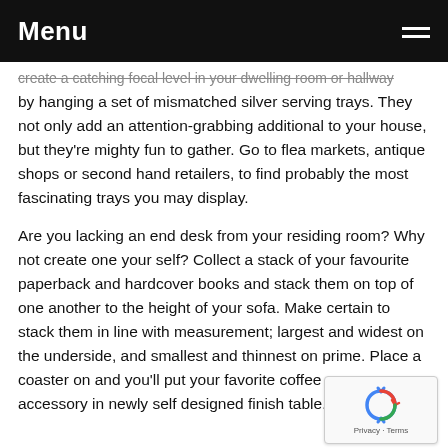Menu
create a catching focal level in your dwelling room or hallway by hanging a set of mismatched silver serving trays. They not only add an attention-grabbing additional to your house, but they're mighty fun to gather. Go to flea markets, antique shops or second hand retailers, to find probably the most fascinating trays you may display.
Are you lacking an end desk from your residing room? Why not create one your self? Collect a stack of your favourite paperback and hardcover books and stack them on top of one another to the height of your sofa. Make certain to stack them in line with measurement; largest and widest on the underside, and smallest and thinnest on prime. Place a coaster on and you'll put your favorite coffee mug or accessory in newly self designed finish table.
[Figure (other): reCAPTCHA logo with Privacy and Terms links]